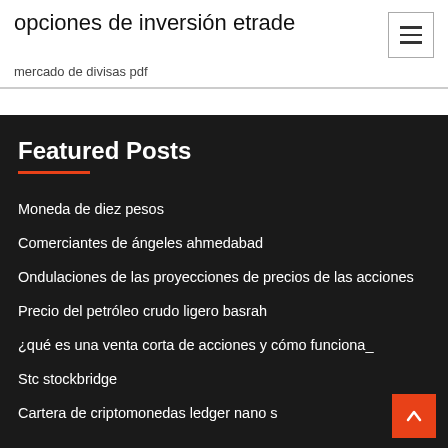opciones de inversión etrade
mercado de divisas pdf
Featured Posts
Moneda de diez pesos
Comerciantes de ángeles ahmedabad
Ondulaciones de las proyecciones de precios de las acciones
Precio del petróleo crudo ligero basrah
¿qué es una venta corta de acciones y cómo funciona_
Stc stockbridge
Cartera de criptomonedas ledger nano s